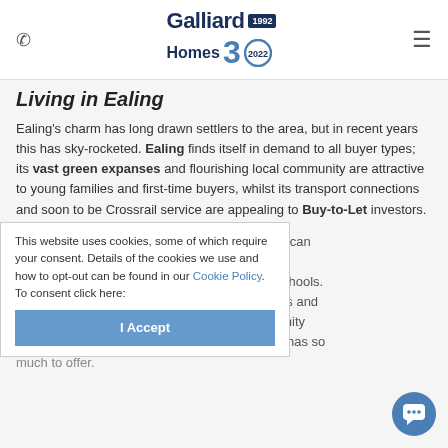Galliard Homes 30 [logo]
Living in Ealing
Ealing's charm has long drawn settlers to the area, but in recent years this has sky-rocketed. Ealing finds itself in demand to all buyer types; its vast green expanses and flourishing local community are attractive to young families and first-time buyers, whilst its transport connections and soon to be Crossrail service are appealing to Buy-to-Let investors.
This website uses cookies, some of which require your consent. Details of the cookies we use and how to opt-out can be found in our Cookie Policy. To consent click here:
I Accept
Families in search of property for sale in Ealing can largely safe neighbourhood and a selection of great local schools. Ealing is also host to a number of annual events and festivals which are great for getting the community together; this community-focused district really has so much to offer.